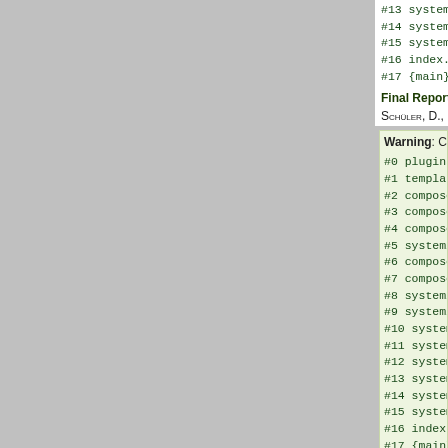#13 system/modules/co
#14 system/modules/co
#15 system/modules/co
#16 index.php(24): Co
#17 {main}
Final Report with LCA -
Schüler, D., Degreif, S., B
Warning: Creating default
#0 plugins/openurl.ph
#1 templates/metamode
#2 composer/vendor/me
#3 composer/vendor/me
#4 composer/vendor/me
#5 system/modules/cor
#6 composer/vendor/me
#7 composer/vendor/me
#8 system/modules/cor
#9 system/modules/cor
#10 system/modules/co
#11 system/modules/co
#12 system/modules/co
#13 system/modules/co
#14 system/modules/co
#15 system/modules/co
#16 index.php(24): Co
#17 {main}
Warning: Creating default